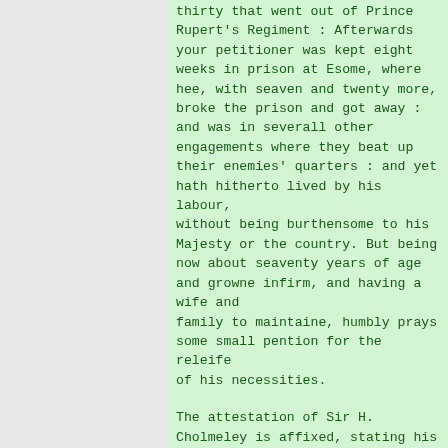thirty that went out of Prince Rupert's Regiment : Afterwards your petitioner was kept eight weeks in prison at Esome, where hee, with seaven and twenty more, broke the prison and got away : and was in severall other engagements where they beat up their enemies' quarters : and yet hath hitherto lived by his labour, without being burthensome to his Majesty or the country. But being now about seaventy years of age and growne infirm, and having a wife and family to maintaine, humbly prays some small pention for the releife of his necessities.
The attestation of Sir H. Cholmeley is affixed, stating his familiarity with the statements made, and his belief of their truth, the petitioner having been personally known to him for more than thirty years. Several other names of well-known Whitby men are